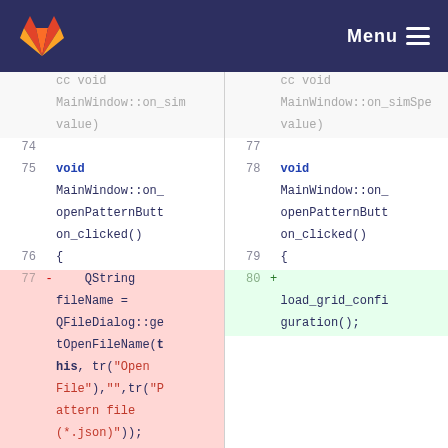GitLab — Menu
[Figure (screenshot): Code diff view showing two columns: left (old) with line numbers 74-79 and right (new) with line numbers 77-80. Left side shows removed lines (red background) with QString fileName = QFileDialog::getOpenFileName code. Right side shows added lines (green background) with load_grid_configuration(); call.]